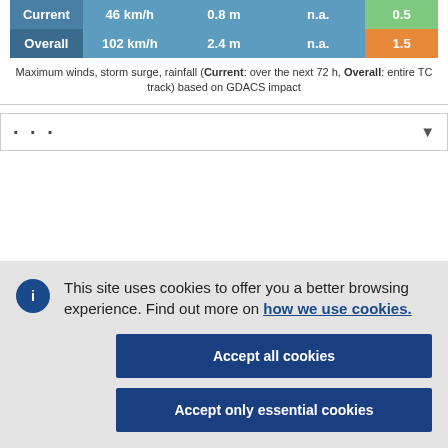|  | Wind | Storm Surge | Rainfall | Score |
| --- | --- | --- | --- | --- |
| Current | 46 km/h | 0.8 m | n.a. | 0.5 |
| Overall | 102 km/h | 2.4 m | n.a. | 1.5 |
Maximum winds, storm surge, rainfall (Current: over the next 72 h, Overall: entire TC track) based on GDACS impact
This site uses cookies to offer you a better browsing experience. Find out more on how we use cookies.
Accept all cookies
Accept only essential cookies